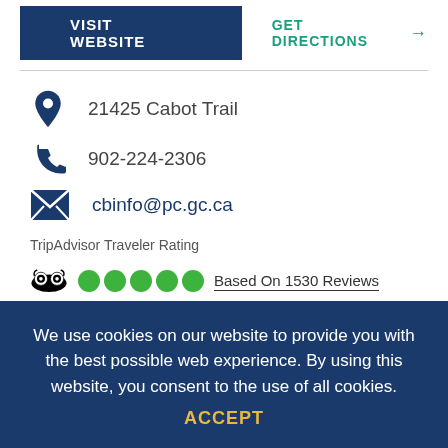[Figure (screenshot): VISIT WEBSITE button (dark blue) and GET DIRECTIONS link (teal) at top of page]
21425 Cabot Trail
902-224-2306
cbinfo@pc.gc.ca
TripAdvisor Traveler Rating
[Figure (other): TripAdvisor owl logo with 5 green circles and text: Based On 1530 Reviews]
We use cookies on our website to provide you with the best possible web experience. By using this website, you consent to the use of all cookies.
ACCEPT